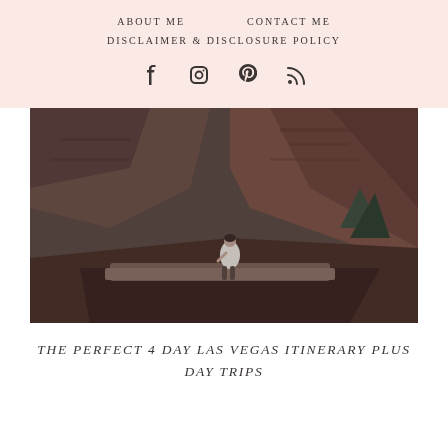ABOUT ME   CONTACT ME
DISCLAIMER & DISCLOSURE POLICY
[Figure (photo): Person sitting on a stone wall ledge with red canyon rock formations behind them, moody outdoor travel photo]
THE PERFECT 4 DAY LAS VEGAS ITINERARY PLUS DAY TRIPS